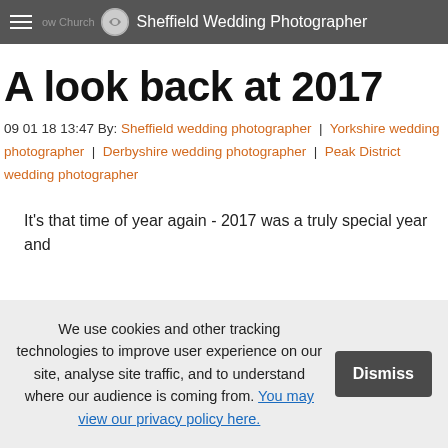Sheffield Wedding Photographer
A look back at 2017
09 01 18 13:47 By: Sheffield wedding photographer | Yorkshire wedding photographer | Derbyshire wedding photographer | Peak District wedding photographer
It's that time of year again - 2017 was a truly special year and
We use cookies and other tracking technologies to improve user experience on our site, analyse site traffic, and to understand where our audience is coming from. You may view our privacy policy here.